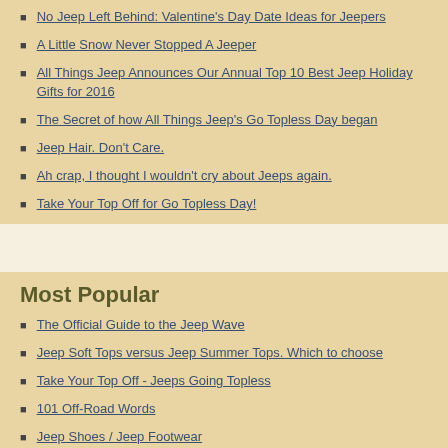No Jeep Left Behind: Valentine's Day Date Ideas for Jeepers
A Little Snow Never Stopped A Jeeper
All Things Jeep Announces Our Annual Top 10 Best Jeep Holiday Gifts for 2016
The Secret of how All Things Jeep's Go Topless Day began
Jeep Hair. Don't Care.
Ah crap, I thought I wouldn't cry about Jeeps again.
Take Your Top Off for Go Topless Day!
Most Popular
The Official Guide to the Jeep Wave
Jeep Soft Tops versus Jeep Summer Tops. Which to choose
Take Your Top Off - Jeeps Going Topless
101 Off-Road Words
Jeep Shoes / Jeep Footwear